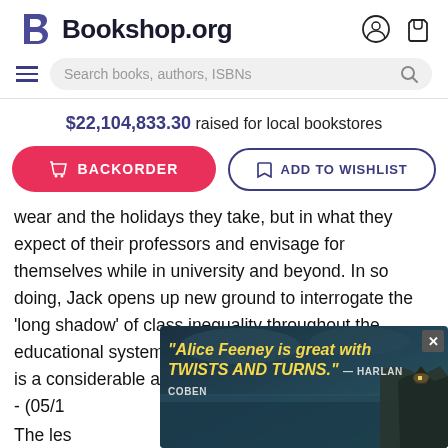Bookshop.org
Search books, authors, ISBNs
$22,104,833.30 raised for local bookstores
BACKORDER
ADD TO WISHLIST
wear and the holidays they take, but in what they expect of their professors and envisage for themselves while in university and beyond. In so doing, Jack opens up new ground to interrogate the 'long shadow' of class inequality throughout the educational system. For all these reasons, this book is a considerable achievement.- - (05/1
The les
studen
Once t
[Figure (screenshot): Advertisement overlay showing quote: "Alice Feeney is great with TWISTS AND TURNS." — HARLAN COBEN, with a dark ocean/cliff background image and a close button (X) in top right]